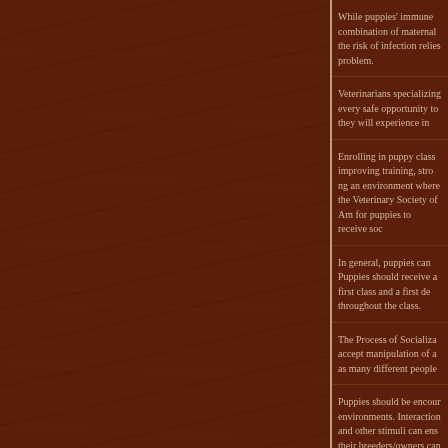[Figure (photo): Wood grain texture background filling the left two-thirds of the page, dark reddish-brown wood]
While puppies' immune systems are protected by a combination of maternal antibodies and vaccinations, the risk of infection relies on avoiding animals with the problem.
Veterinarians specializing in behavior recommend every safe opportunity to expose puppies to situations they will experience in their lives.
Enrolling in puppy classes can be beneficial for improving training, strengthening the bond, and creating an environment where they can spend time. The American Veterinary Society of Animal Behavior supports classes for puppies to receive socialization.
In general, puppies can begin puppy socialization classes. Puppies should receive a minimum of one set of vaccines before the first class and a first deworming. They should be kept current throughout the class.
The Process of Socialization: Puppies should learn to accept manipulation of all body parts by veterinarians and as many different people as possible.
Puppies should be encouraged to explore different environments. Interactions with various sights, sounds, and other stimuli can ensure a well-adjusted dog. Both their breeders/owners can help.